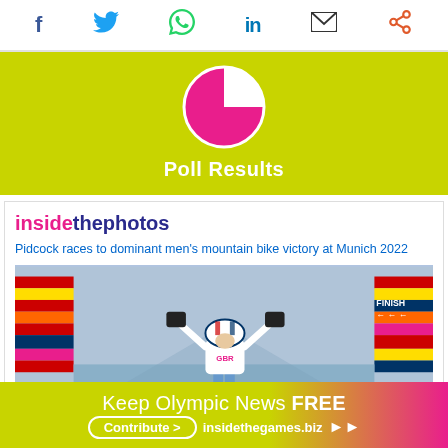Social sharing icons: Facebook, Twitter, WhatsApp, LinkedIn, Email, Share
[Figure (infographic): Poll Results banner with pie chart showing majority pink slice on lime-green background, titled 'Poll Results']
insidethephotos
Pidcock races to dominant men's mountain bike victory at Munich 2022
[Figure (photo): Cyclist in GBR kit raising both arms in victory at finish line, colorful banners in background, Munich 2022]
Keep Olympic News FREE Contribute > insidethegames.biz